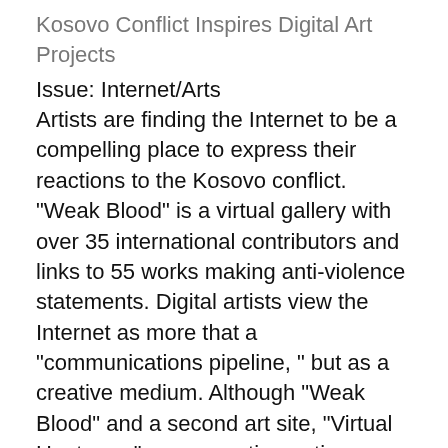Kosovo Conflict Inspires Digital Art Projects
Issue: Internet/Arts
Artists are finding the Internet to be a compelling place to express their reactions to the Kosovo conflict. "Weak Blood" is a virtual gallery with over 35 international contributors and links to 55 works making anti-violence statements. Digital artists view the Internet as more that a "communications pipeline, " but as a creative medium. Although "Weak Blood" and a second art site, "Virtual Heatwave" are promoting anti-violence (whether it be protesting the Milosevic regime, NATO, or both), a pro-war art site is likely to crop up if it hasn't already. The Internet has sped up artists' ability to have an audience. No need to wait for paint to dry or a gallery to